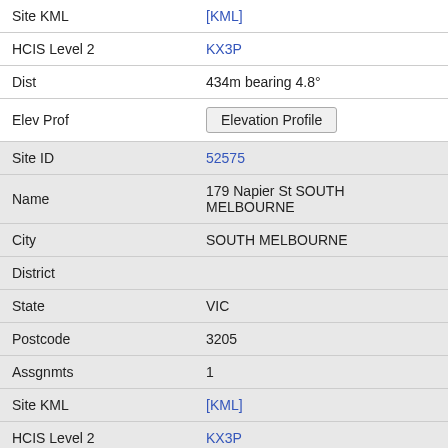| Field | Value |
| --- | --- |
| Site KML | [KML] |
| HCIS Level 2 | KX3P |
| Dist | 434m bearing 4.8° |
| Elev Prof | Elevation Profile |
| Site ID | 52575 |
| Name | 179 Napier St SOUTH MELBOURNE |
| City | SOUTH MELBOURNE |
| District |  |
| State | VIC |
| Postcode | 3205 |
| Assgnmts | 1 |
| Site KML | [KML] |
| HCIS Level 2 | KX3P |
| Dist | 438m bearing 156.2° |
| Elev Prof | Elevation Profile |
| Site ID | 9027651 |
| Name | 85 Market Street SOUTH MELBOURNE |